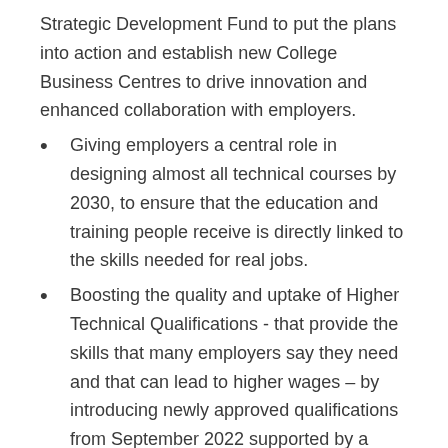Strategic Development Fund to put the plans into action and establish new College Business Centres to drive innovation and enhanced collaboration with employers.
Giving employers a central role in designing almost all technical courses by 2030, to ensure that the education and training people receive is directly linked to the skills needed for real jobs.
Boosting the quality and uptake of Higher Technical Qualifications - that provide the skills that many employers say they need and that can lead to higher wages – by introducing newly approved qualifications from September 2022 supported by a government-backed brand and quality mark.
Changing the law so that from 2025 people can access flexible student finance so they can train and retrain throughout their lives, supported by funding in 21/22 to test ways to boost access to more modular and flexible